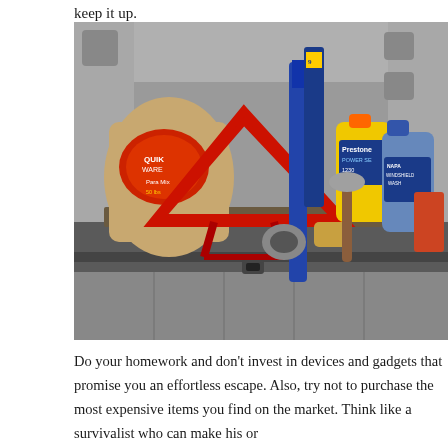keep it up.
[Figure (photo): Trunk of a vehicle open, showing emergency and car maintenance supplies including a red warning triangle, a bag of Quikrete or sand, Prestone washer fluid (yellow jug), a blue windshield wash jug, a windshield wiper, duct tape, and other items arranged in the cargo area.]
Do your homework and don’t invest in devices and gadgets that promise you an effortless escape. Also, try not to purchase the most expensive items you find on the market. Think like a survivalist who can make his or her own tools. I mean, it’s nice to have a set of